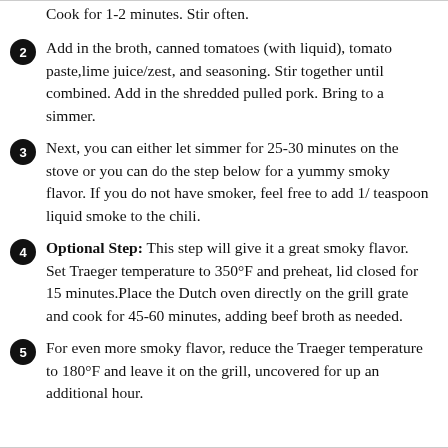Cook for 1-2 minutes. Stir often.
Add in the broth, canned tomatoes (with liquid), tomato paste,lime juice/zest, and seasoning. Stir together until combined. Add in the shredded pulled pork. Bring to a simmer.
Next, you can either let simmer for 25-30 minutes on the stove or you can do the step below for a yummy smoky flavor. If you do not have smoker, feel free to add 1/ teaspoon liquid smoke to the chili.
Optional Step: This step will give it a great smoky flavor. Set Traeger temperature to 350°F and preheat, lid closed for 15 minutes.Place the Dutch oven directly on the grill grate and cook for 45-60 minutes, adding beef broth as needed.
For even more smoky flavor, reduce the Traeger temperature to 180°F and leave it on the grill, uncovered for up an additional hour.